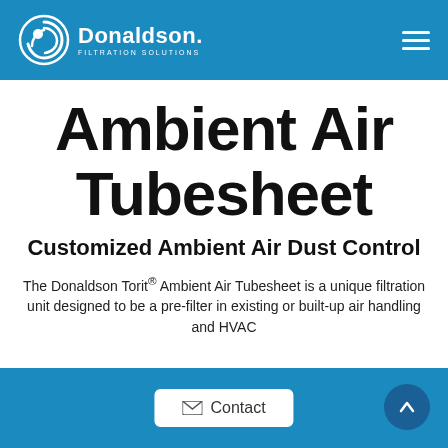Donaldson Filtration Solutions
Ambient Air Tubesheet
Customized Ambient Air Dust Control
The Donaldson Torit® Ambient Air Tubesheet is a unique filtration unit designed to be a pre-filter in existing or built-up air handling and HVAC
Contact